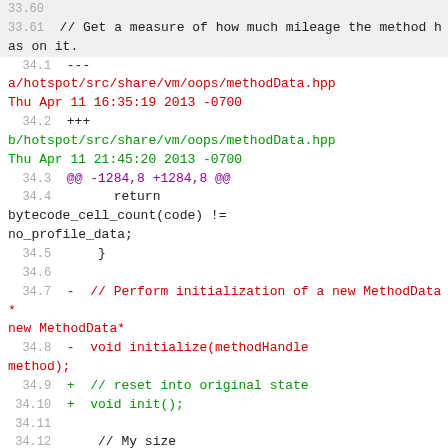Code diff snippet showing changes to methodData.hpp
33.60
33.61   // Get a measure of how much mileage the method has on it.
34.1  --- a/hotspot/src/share/vm/oops/methodData.hpp Thu Apr 11 16:35:19 2013 -0700
34.2  +++ b/hotspot/src/share/vm/oops/methodData.hpp Thu Apr 11 21:45:20 2013 -0700
34.3  @@ -1284,8 +1284,8 @@
34.4       return bytecode_cell_count(code) != no_profile_data;
34.5    }
34.6
34.7  -  // Perform initialization of a new MethodData*
34.8  -  void initialize(methodHandle method);
34.9  +  // reset into original state
34.10 +  void init();
34.11
34.12     // My size
34.13     int size_in_bytes() const { return _size; }
34.14 @@ -1365,6 +1365,7 @@
34.15     intx arg_stack() { return _arg_stack; }